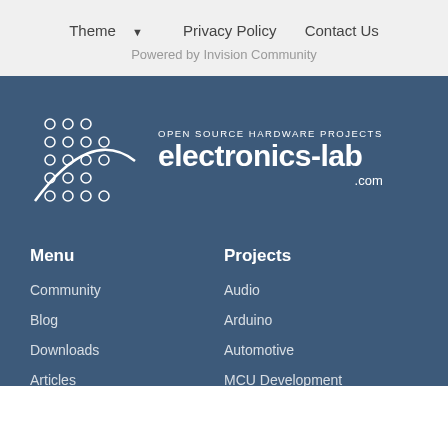Theme ▼   Privacy Policy   Contact Us
Powered by Invision Community
[Figure (logo): Electronics-lab.com logo with circuit board dot matrix icon and text 'OPEN SOURCE HARDWARE PROJECTS electronics-lab.com']
Menu
Community
Blog
Downloads
Articles
Links
Projects
Audio
Arduino
Automotive
MCU Development
Microcontroller
Miscellaneous